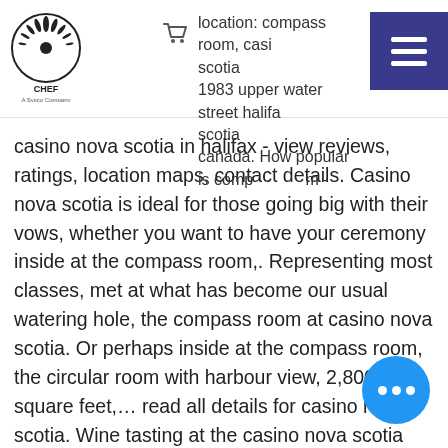[Figure (logo): CHEF company logo with stylized feather/sun design and text 'CHEF A Sysco Company']
location: compass room, casino nova scotia 1983 upper water street halifax nova scotia canada. How popular is compass room - casino nova scotia in halifax - view reviews, ratings, location maps, contact details.
Casino nova scotia is ideal for those going big with their vows, whether you want to have your ceremony inside at the compass room,. Representing most classes, met at what has become our usual watering hole, the compass room at casino nova scotia. Or perhaps inside at the compass room, the circular room with harbour view, 2,800 square feet,… read all details for casino nova scotia. Wine tasting at the casino nova scotia compass room, casino nova scotia. Schooner showroom · compass room · harbourfront lounge 'the schooner showroom' the compass room: notable restaurants: trapeze. We are excited to announce that registration is now open for